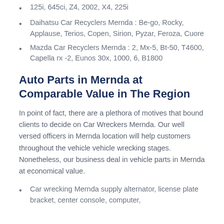125i, 645ci, Z4, 2002, X4, 225i
Daihatsu Car Recyclers Mernda : Be-go, Rocky, Applause, Terios, Copen, Sirion, Pyzar, Feroza, Cuore
Mazda Car Recyclers Mernda : 2, Mx-5, Bt-50, T4600, Capella rx -2, Eunos 30x, 1000, 6, B1800
Auto Parts in Mernda at Comparable Value in The Region
In point of fact, there are a plethora of motives that bound clients to decide on Car Wreckers Mernda. Our well versed officers in Mernda location will help customers throughout the vehicle vehicle wrecking stages. Nonetheless, our business deal in vehicle parts in Mernda at economical value.
Car wrecking Mernda supply alternator, license plate bracket, center console, computer,